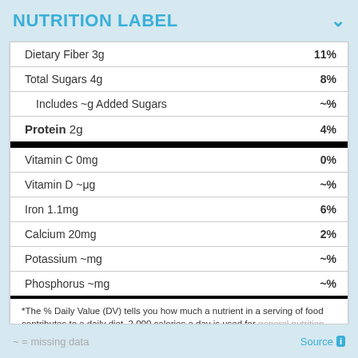NUTRITION LABEL
| Nutrient | % Daily Value |
| --- | --- |
| Dietary Fiber 3g | 11% |
| Total Sugars 4g | 8% |
| Includes ~g Added Sugars | ~% |
| Protein 2g | 4% |
| Vitamin C 0mg | 0% |
| Vitamin D ~μg | ~% |
| Iron 1.1mg | 6% |
| Calcium 20mg | 2% |
| Potassium ~mg | ~% |
| Phosphorus ~mg | ~% |
*The % Daily Value (DV) tells you how much a nutrient in a serving of food contributes to a daily diet. 2,000 calories a day is used for general nutrition advice.
~ = missing data   Source